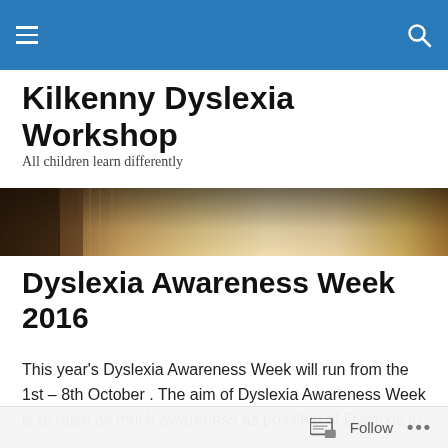Navigation bar with hamburger menu and search icon
Kilkenny Dyslexia Workshop
All children learn differently
[Figure (photo): Close-up photograph of an open book with pages, warm tones of tan and brown]
Dyslexia Awareness Week 2016
This year's Dyslexia Awareness Week will run from the 1st – 8th October . The aim of Dyslexia Awareness Week is to raise as much awareness as possible of Dyslexia in
Follow ...